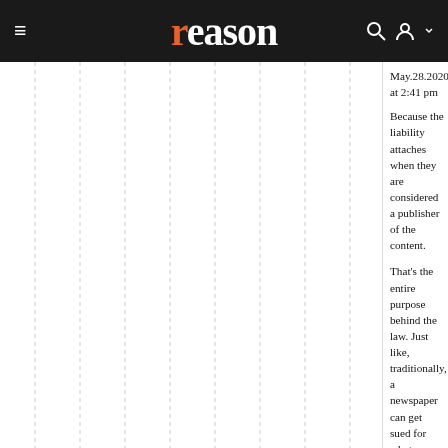reason
May.28.2020 at 2:41 pm
Because the liability attaches when they are considered a publisher of the content.
That's the entire purpose behind the law. Just like, traditionally, a newspaper can get sued for what someone writes in the newspaper.
Or a book publisher can get sued for what someone writes in a book.
And so on. That's why (c)(1) (in conjunction with (e)(3), preempting state and local laws) provides immunity from liability.
See, e.g.:
Dowbenko v. Google Inc., 991 F. Supp. 2d 1219, 1220 (S.D. Fla. 2013), aff'd, 582 F. App'x 801 (11th Cir. 2014)
Mezey v. Twitter, Inc., No. 1:18-CV-21069-KMM, 2018 WL 5306769, at *1 (S.D. Fla. July 19, 2018)
Roca Labs, Inc. v. Consumer Opinion Corp., 140 F. Supp. 3d 1311, 1318-1325 (M.D. Fla.